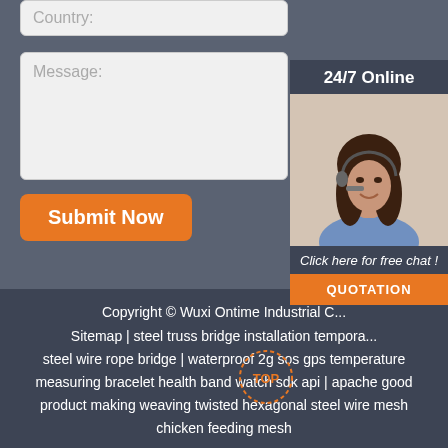Country:
Message:
Submit Now
[Figure (photo): Customer service representative woman with headset, 24/7 Online chat widget with QUOTATION button]
Copyright © Wuxi Ontime Industrial C... Sitemap | steel truss bridge installation tempora... steel wire rope bridge | waterproof 2g sos gps temperature measuring bracelet health band watch sdk api | apache good product making weaving twisted hexagonal steel wire mesh chicken feeding mesh